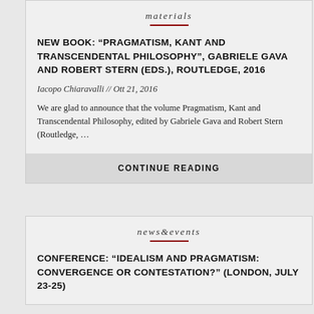materials
NEW BOOK: “PRAGMATISM, KANT AND TRANSCENDENTAL PHILOSOPHY”, GABRIELE GAVA AND ROBERT STERN (EDS.), ROUTLEDGE, 2016
Iacopo Chiaravalli // Ott 21, 2016
We are glad to announce that the volume Pragmatism, Kant and Transcendental Philosophy, edited by Gabriele Gava and Robert Stern (Routledge, …
CONTINUE READING
news&events
CONFERENCE: “IDEALISM AND PRAGMATISM: CONVERGENCE OR CONTESTATION?” (LONDON, JULY 23-25)